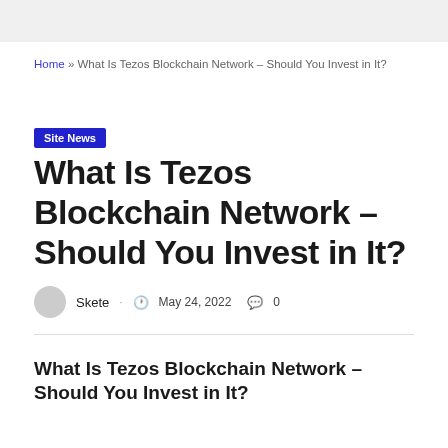Home » What Is Tezos Blockchain Network – Should You Invest in It?
Site News
What Is Tezos Blockchain Network – Should You Invest in It?
Skete · May 24, 2022 · 0
What Is Tezos Blockchain Network – Should You Invest in It?